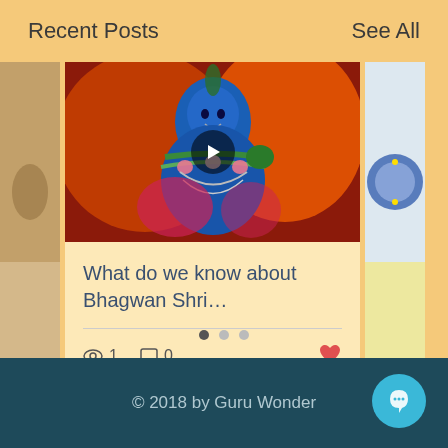Recent Posts
See All
[Figure (photo): A blue-skinned Hindu deity (Krishna) adorned with flower garlands and jewelry, with a video play button overlay. Partial image cards visible on left and right sides.]
What do we know about Bhagwan Shri…
1  0
[Figure (other): Pagination dots: three dots, first one active (filled), two inactive]
© 2018 by Guru Wonder